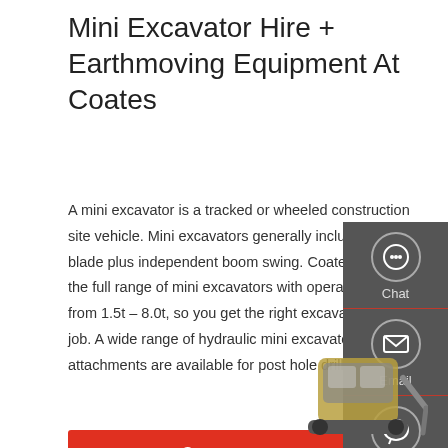Mini Excavator Hire + Earthmoving Equipment At Coates
A mini excavator is a tracked or wheeled construction site vehicle. Mini excavators generally include a backfill blade plus independent boom swing. Coates provides the full range of mini excavators with operating weight from 1.5t – 8.0t, so you get the right excavator for your job. A wide range of hydraulic mini excavator attachments are available for post hole drilling, …
Get a quote
[Figure (screenshot): Sidebar contact widget with Chat, Email, and Contact icons on dark grey background]
[Figure (photo): Partial view of a mini excavator / earthmoving equipment]